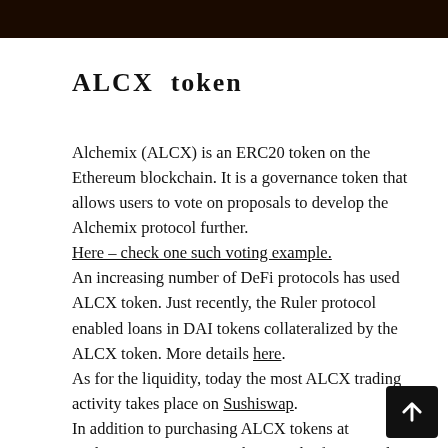[Figure (photo): Dark/black banner image at top of page]
ALCX token
Alchemix (ALCX) is an ERC20 token on the Ethereum blockchain. It is a governance token that allows users to vote on proposals to develop the Alchemix protocol further.
Here – check one such voting example.
An increasing number of DeFi protocols has used ALCX token. Just recently, the Ruler protocol enabled loans in DAI tokens collateralized by the ALCX token. More details here.
As for the liquidity, today the most ALCX trading activity takes place on Sushiswap.
In addition to purchasing ALCX tokens at exchanges, you can earn them on the farms on the Alchemix